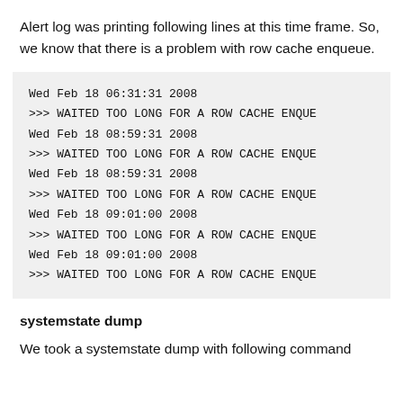Alert log was printing following lines at this time frame. So, we know that there is a problem with row cache enqueue.
[Figure (screenshot): Code block showing repeated alert log entries: Wed Feb 18 06:31:31 2008 / >>> WAITED TOO LONG FOR A ROW CACHE ENQUE, Wed Feb 18 08:59:31 2008 / >>> WAITED TOO LONG FOR A ROW CACHE ENQUE (repeated), Wed Feb 18 09:01:00 2008 / >>> WAITED TOO LONG FOR A ROW CACHE ENQUE (repeated)]
systemstate dump
We took a systemstate dump with following command